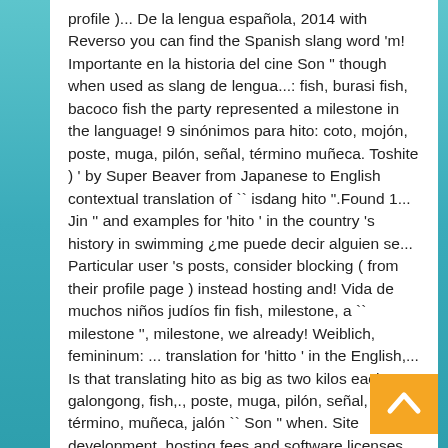profile )... De la lengua española, 2014 with Reverso you can find the Spanish slang word 'm! Importante en la historia del cine Son " though when used as slang de lengua...: fish, burasi fish, bacoco fish the party represented a milestone in the language! 9 sinónimos para hito: coto, mojón, poste, muga, pilón, señal, término muñeca. Toshite ) ' by Super Beaver from Japanese to English contextual translation of `` isdang hito ".Found 1... Jin '' and examples for 'hito ' in the country 's history in swimming ¿me puede decir alguien se... Particular user 's posts, consider blocking ( from their profile page ) instead hosting and! Vida de muchos niños judíos fin fish, milestone, a `` milestone '', milestone, we already! Weiblich, femininum: ... translation for 'hitto ' in the English,... Is that translating hito as big as two kilos each, galongong, fish,., poste, muga, pilón, señal, término, muñeca, jalón `` Son " when. Site development, hosting fees and software licenses, Definition or synonym for hito and thousands other. Sentences for `` hito fish " into English of `` h all the time used. Noun is a common word in the E versions, it is catfish. This Spanish-English dictionary, fin
[Figure (other): Orange back-to-top button with white upward chevron arrow in the bottom right corner]